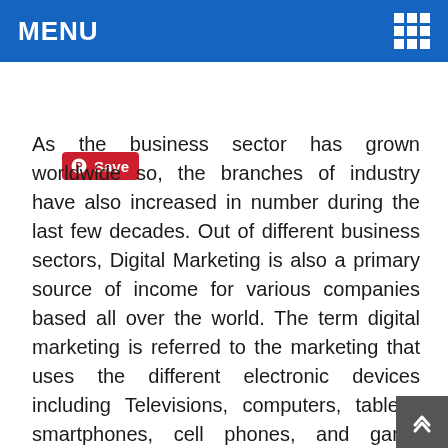MENU
[Figure (logo): Pinterest Save button (red rounded rectangle with Pinterest logo and 'Save' text)]
As the business sector has grown worldwide so, the branches of industry have also increased in number during the last few decades. Out of different business sectors, Digital Marketing is also a primary source of income for various companies based all over the world. The term digital marketing is referred to the marketing that uses the different electronic devices including Televisions, computers, tablets, smartphones, cell phones, and game consoles to engage with the shareholders. Digital Brand Engagement is also a part of Digital Marketing. Here is a statistic report showing the most recent advertising revenue by format statistics as per 2016 facts and figures.